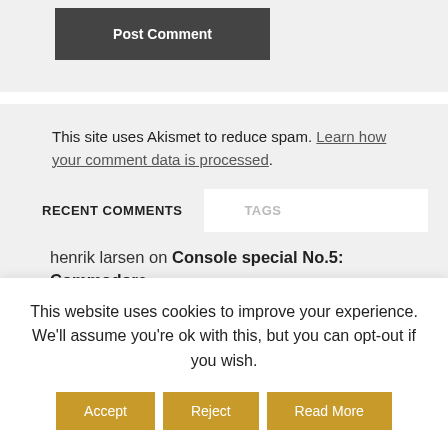Post Comment
This site uses Akismet to reduce spam. Learn how your comment data is processed.
RECENT COMMENTS
TAGS
henrik larsen on Console special No.5: Commodore
This website uses cookies to improve your experience. We'll assume you're ok with this, but you can opt-out if you wish.
Accept
Reject
Read More